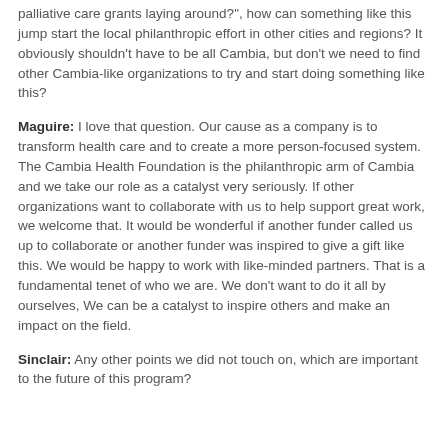palliative care grants laying around?", how can something like this jump start the local philanthropic effort in other cities and regions? It obviously shouldn't have to be all Cambia, but don't we need to find other Cambia-like organizations to try and start doing something like this?
Maguire: I love that question. Our cause as a company is to transform health care and to create a more person-focused system. The Cambia Health Foundation is the philanthropic arm of Cambia and we take our role as a catalyst very seriously. If other organizations want to collaborate with us to help support great work, we welcome that. It would be wonderful if another funder called us up to collaborate or another funder was inspired to give a gift like this. We would be happy to work with like-minded partners. That is a fundamental tenet of who we are. We don't want to do it all by ourselves, We can be a catalyst to inspire others and make an impact on the field.
Sinclair: Any other points we did not touch on, which are important to the future of this program?